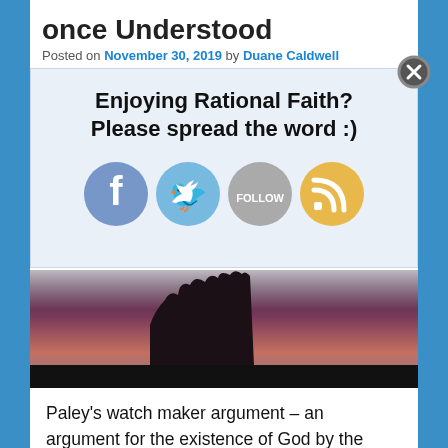once Understood
Posted on November 30, 2019 by Duane Caldwell
[Figure (infographic): Social sharing popup overlay with text 'Enjoying Rational Faith? Please spread the word :)' and social media icons for Facebook, Twitter, Follow, and RSS feed on a light blue background, with a close (X) button in the top right corner.]
[Figure (photo): Dark silhouette of a rock formation or cliff against a dramatic cloudy sky with purple and pink hues at dusk or dawn.]
Paley's watch maker argument – an argument for the existence of God by the clearly apparent design in nature is one of the most